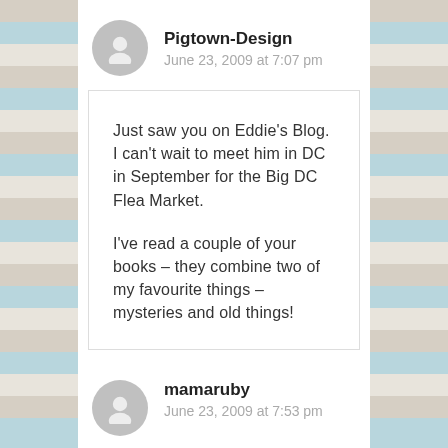[Figure (illustration): Gray circular avatar with person silhouette icon for Pigtown-Design commenter]
Pigtown-Design
June 23, 2009 at 7:07 pm
Just saw you on Eddie's Blog. I can't wait to meet him in DC in September for the Big DC Flea Market.

I've read a couple of your books – they combine two of my favourite things – mysteries and old things!
[Figure (illustration): Gray circular avatar with person silhouette icon for mamaruby commenter]
mamaruby
June 23, 2009 at 7:53 pm